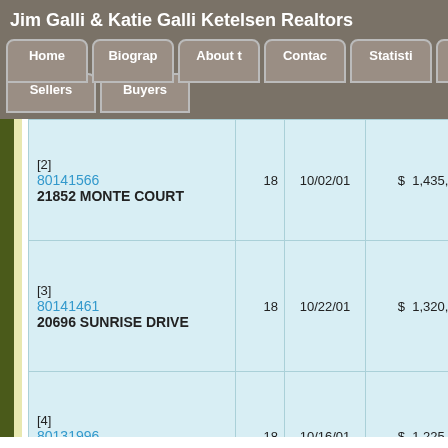Jim Galli & Katie Galli Ketelsen Realtors
Home | Biography | About | Contact | Statistics | Listings | Sellers | Buyers
| Address | Days | Date | List Price |  |
| --- | --- | --- | --- | --- |
| [2] 80141566 21852 MONTE COURT | 18 | 10/02/01 | $ 1,435,000 | $ Ji... |
| [3] 80141461 20696 SUNRISE DRIVE | 18 | 10/22/01 | $ 1,320,000 | $ |
| [4] 80131996 10930 MIRAMONTE ROAD | 18 | 10/16/01 | $ 1,225,000 | $ |